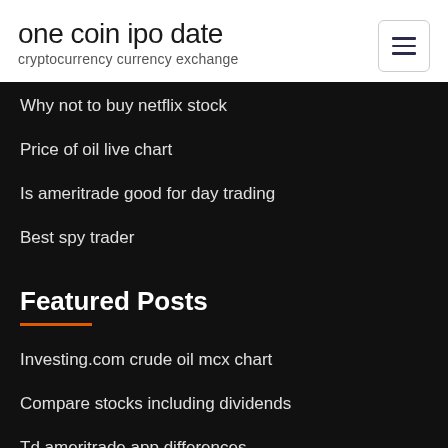one coin ipo date
cryptocurrency currency exchange
Why not to buy netflix stock
Price of oil live chart
Is ameritrade good for day trading
Best spy trader
Featured Posts
Investing.com crude oil mcx chart
Compare stocks including dividends
Td ameritrade app differences
April golden mastering